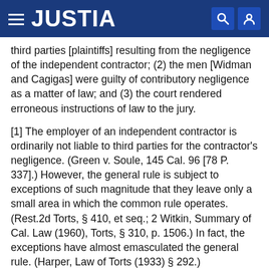JUSTIA
third parties [plaintiffs] resulting from the negligence of the independent contractor; (2) the men [Widman and Cagigas] were guilty of contributory negligence as a matter of law; and (3) the court rendered erroneous instructions of law to the jury.
[1] The employer of an independent contractor is ordinarily not liable to third parties for the contractor's negligence. (Green v. Soule, 145 Cal. 96 [78 P. 337].) However, the general rule is subject to exceptions of such magnitude that they leave only a small area in which the common rule operates. (Rest.2d Torts, § 410, et seq.; 2 Witkin, Summary of Cal. Law (1960), Torts, § 310, p. 1506.) In fact, the exceptions have almost emasculated the general rule. (Harper, Law of Torts (1933) § 292.)
The first group of exceptions covers situations in which